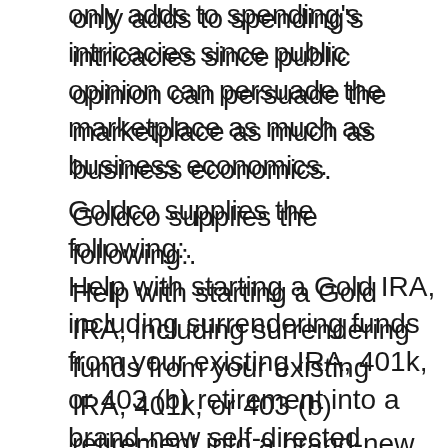only adds to spending's intricacies since public opinion can persuade the marketplace as much as business economics.
Goldco supplies the following:. Help with starting a Gold IRA, including surrendering funds from your existing IRA, 401k, or 403 (b) retirement into a brand-new self-directed individual retirement account.
Capacity to acquire high in demand silver and gold coins from IRS-approved mints.
Silver and gold bars are available from costs mints.
You can purchase coins and also bars for individual investments outside of your gold